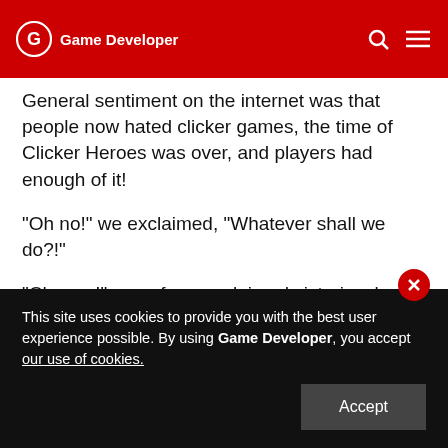Game Developer
General sentiment on the internet was that people now hated clicker games, the time of Clicker Heroes was over, and players had enough of it!
“Oh no!” we exclaimed, “Whatever shall we do?!”
“Change!” one of us proclaimed victoriously, “We must change!”
And so we did…much art was lost in the process. All the backgrounds we did could not be used anymore. The GDDs we wrote…useless. But hey, at least we had a ton of 3D cats right?!
This site uses cookies to provide you with the best user experience possible. By using Game Developer, you accept our use of cookies.